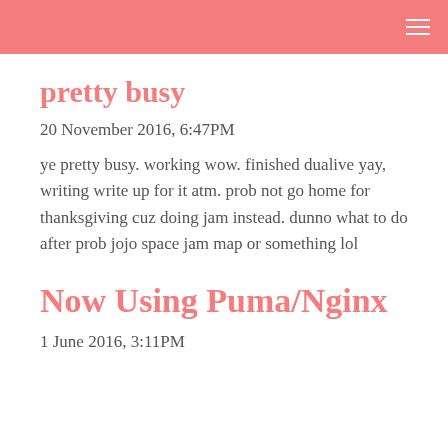pretty busy
20 November 2016, 6:47PM
ye pretty busy. working wow. finished dualive yay, writing write up for it atm. prob not go home for thanksgiving cuz doing jam instead. dunno what to do after prob jojo space jam map or something lol
Now Using Puma/Nginx
1 June 2016, 3:11PM